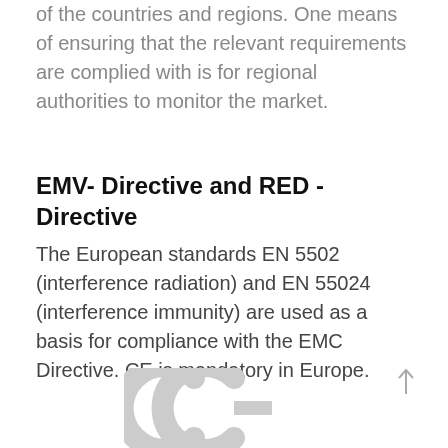of the countries and regions. One means of ensuring that the relevant requirements are complied with is for regional authorities to monitor the market.
EMV- Directive and RED - Directive
The European standards EN 5502 (interference radiation) and EN 55024 (interference immunity) are used as a basis for compliance with the EMC Directive. CE is mandatory in Europe.